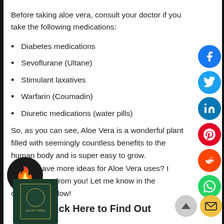Before taking aloe vera, consult your doctor if you take the following medications:
Diabetes medications
Sevoflurane (Ultane)
Stimulant laxatives
Warfarin (Coumadin)
Diuretic medications (water pills)
So, as you can see, Aloe Vera is a wonderful plant filled with seemingly countless benefits to the human body and is super easy to grow.
Do you have more ideas for Aloe Vera uses? I want to hear from you! Let me know in the comments below!
Click Here to Find Out